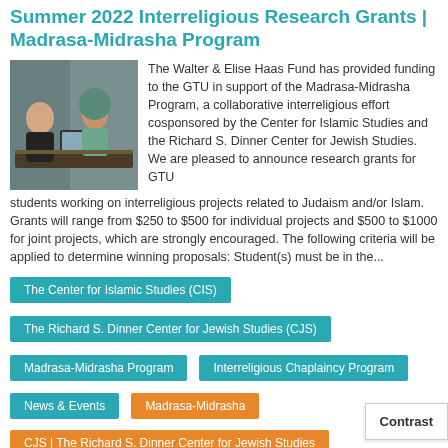Summer 2022 Interreligious Research Grants | Madrasa-Midrasha Program
[Figure (photo): Two women sitting at a table with laptops in a meeting room, one wearing a hijab]
The Walter & Elise Haas Fund has provided funding to the GTU in support of the Madrasa-Midrasha Program, a collaborative interreligious effort cosponsored by the Center for Islamic Studies and the Richard S. Dinner Center for Jewish Studies. We are pleased to announce research grants for GTU students working on interreligious projects related to Judaism and/or Islam. Grants will range from $250 to $500 for individual projects and $500 to $1000 for joint projects, which are strongly encouraged. The following criteria will be applied to determine winning proposals: Student(s) must be in the...
The Center for Islamic Studies (CIS)
The Richard S. Dinner Center for Jewish Studies (CJS)
Madrasa-Midrasha Program
Interreligious Chaplaincy Program
News & Events
Madrasa-Midrasha
CJS | The Richard S. Dinner Center for Jewish Studies